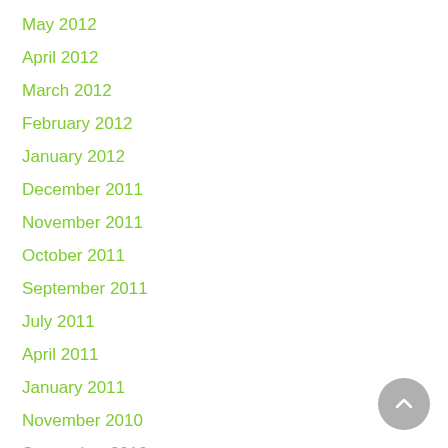May 2012
April 2012
March 2012
February 2012
January 2012
December 2011
November 2011
October 2011
September 2011
July 2011
April 2011
January 2011
November 2010
September 2010
August 2010
June 2010
May 2010
April 2010